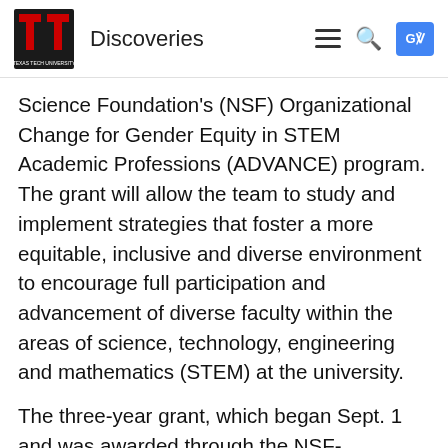Discoveries
Science Foundation's (NSF) Organizational Change for Gender Equity in STEM Academic Professions (ADVANCE) program. The grant will allow the team to study and implement strategies that foster a more equitable, inclusive and diverse environment to encourage full participation and advancement of diverse faculty within the areas of science, technology, engineering and mathematics (STEM) at the university.
The three-year grant, which began Sept. 1 and was awarded through the NSF-ADVANCE "Adaptation" funding track, will establish the team's project, "Advancing Equity through Systemic Strategies to